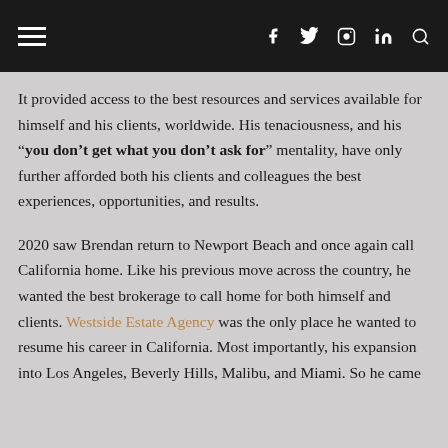Navigation bar with hamburger menu, Facebook, Twitter, Instagram, LinkedIn icons, and search icon
It provided access to the best resources and services available for himself and his clients, worldwide. His tenaciousness, and his “you don’t get what you don’t ask for” mentality, have only further afforded both his clients and colleagues the best experiences, opportunities, and results.
2020 saw Brendan return to Newport Beach and once again call California home. Like his previous move across the country, he wanted the best brokerage to call home for both himself and clients. Westside Estate Agency was the only place he wanted to resume his career in California. Most importantly, his expansion into Los Angeles, Beverly Hills, Malibu, and Miami. So he came